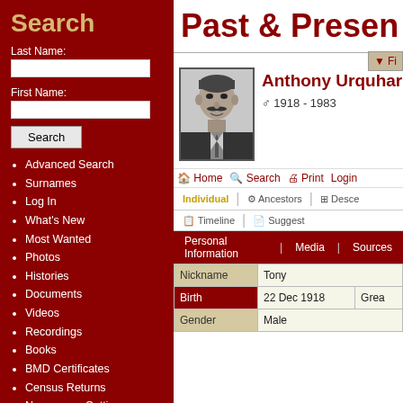Search
Last Name:
First Name:
Advanced Search
Surnames
Log In
What's New
Most Wanted
Photos
Histories
Documents
Videos
Recordings
Books
BMD Certificates
Census Returns
Newspaper Cuttings
Albums
All Media
Cemeteries
Headstones
Places
Notes
Past & Presen
[Figure (photo): Black and white portrait photo of Anthony Urquhar, a man with a mustache wearing a suit]
Anthony Urquhar
♂ 1918 - 1983
Home  Search  Print  Login
Individual | Ancestors | Descendants | Timeline | Suggest
Personal Information | Media | Sources
| Field | Value | Extra |
| --- | --- | --- |
| Nickname | Tony |  |
| Birth | 22 Dec 1918 | Grea |
| Gender | Male |  |